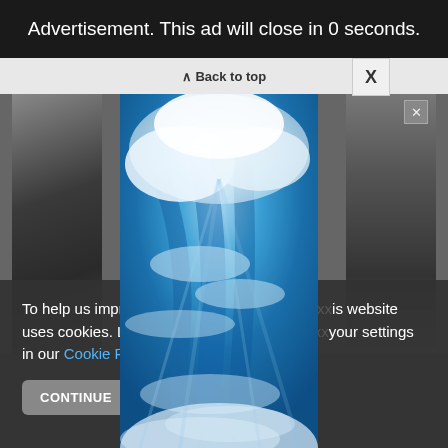Advertisement. This ad will close in 0 seconds.
Back to top
[Figure (screenshot): A modal advertisement overlay showing a sky with blue tones and white clouds. Background shows darkened webpage content with partial images on left and right sides.]
To help us improve y... ...his website uses cookies. Learn more... ...your settings in our Cookie Policy. You ca...
CONTINUE
FIN...